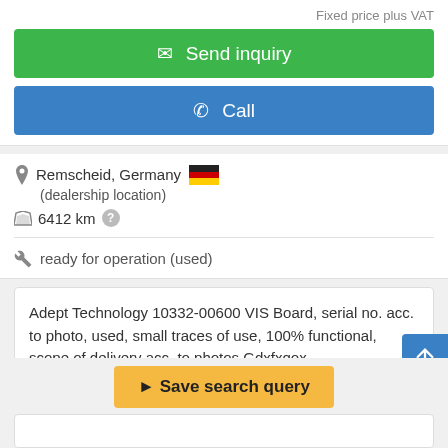Fixed price plus VAT
✉ Send inquiry
✆ Call
Remscheid, Germany 🇩🇪
(dealership location)
6412 km ?
ready for operation (used)
Adept Technology 10332-00600 VIS Board, serial no. acc. to photo, used, small traces of use, 100% functional, scope of delivery acc. to photos Gdxfxqox
Save search query